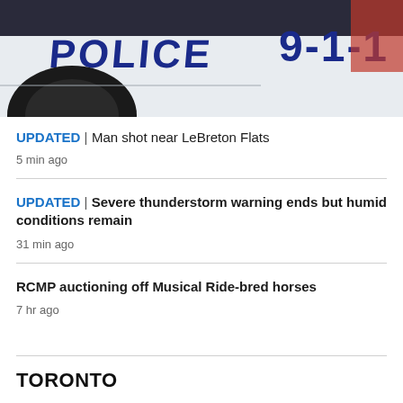[Figure (photo): Side of a police car showing 'POLICE' text and '9-1-1' markings]
UPDATED | Man shot near LeBreton Flats
5 min ago
UPDATED | Severe thunderstorm warning ends but humid conditions remain
31 min ago
RCMP auctioning off Musical Ride-bred horses
7 hr ago
TORONTO